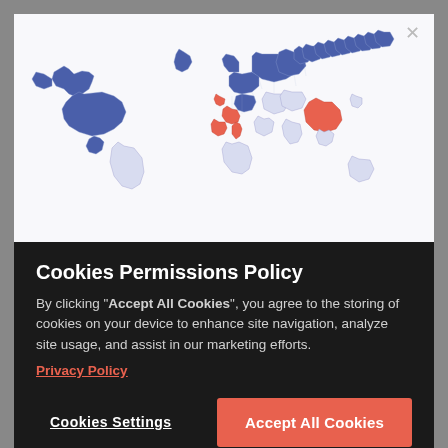[Figure (map): World map showing highlighted regions: North America (blue), parts of Western Europe (red/salmon), and China (red/salmon). Other countries shown in light blue/grey outlines.]
Cookies Permissions Policy
By clicking "Accept All Cookies", you agree to the storing of cookies on your device to enhance site navigation, analyze site usage, and assist in our marketing efforts.
Privacy Policy
Cookies Settings
Accept All Cookies